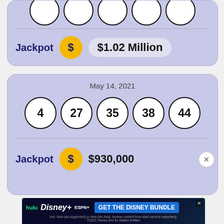[Figure (screenshot): Partial lottery card showing jackpot of $1.02 Million with partially visible lottery balls at top]
May 14, 2021
[Figure (infographic): Lottery balls showing numbers 4, 27, 35, 38, 44 for May 14, 2021 draw]
Jackpot $930,000
[Figure (screenshot): Advertisement: GET THE DISNEY BUNDLE - hulu, Disney+, ESPN+. Incl. Hulu (ad-supported) or Hulu (No Ads). Access content from each service separately. ©2021 Disney and its related entities]
May 12, 2021